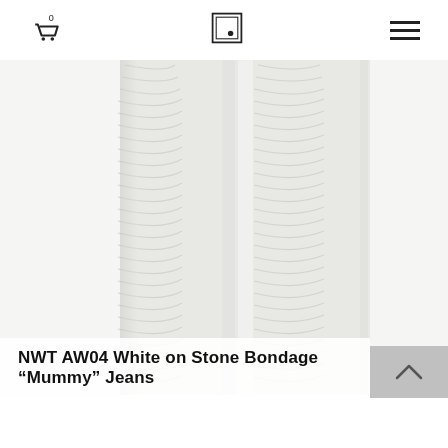Cart icon, logo icon, hamburger menu
[Figure (photo): White ruched/bondage mummy jeans with heavily gathered fabric texture, shot from waist to ankle against a white background]
NWT AW04 White on Stone Bondage “Mummy” Jeans